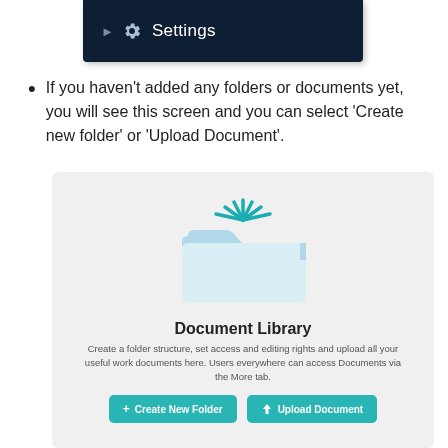[Figure (screenshot): Dark navy navigation menu showing a Settings item with gear icon and triangle arrow]
If you haven't added any folders or documents yet, you will see this screen and you can select 'Create new folder' or 'Upload Document'.
[Figure (screenshot): Document Library empty state screen showing a folder icon with rays, title 'Document Library', description text, and two teal buttons: 'Create New Folder' and 'Upload Document']